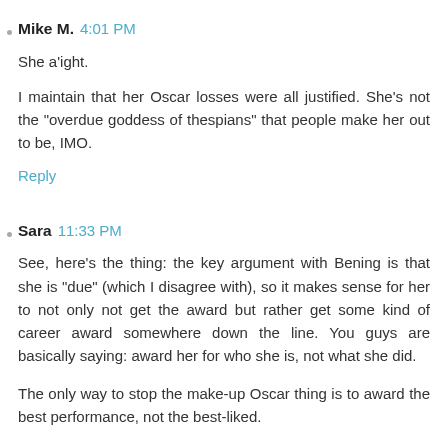Mike M.  4:01 PM
She a'ight.
I maintain that her Oscar losses were all justified. She's not the "overdue goddess of thespians" that people make her out to be, IMO.
Reply
Sara  11:33 PM
See, here's the thing: the key argument with Bening is that she is "due" (which I disagree with), so it makes sense for her to not only not get the award but rather get some kind of career award somewhere down the line. You guys are basically saying: award her for who she is, not what she did.
The only way to stop the make-up Oscar thing is to award the best performance, not the best-liked.
(And I say this as someone who has seen neither